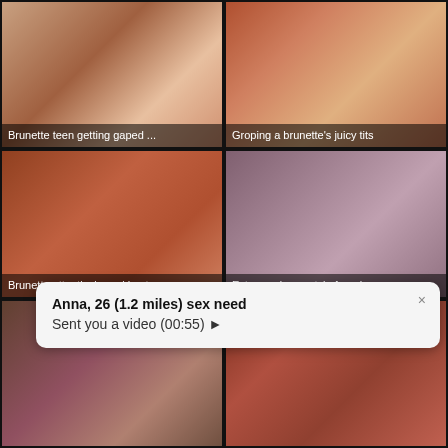[Figure (photo): Thumbnail 1 with caption: Brunette teen getting gaped ...]
[Figure (photo): Thumbnail 2 with caption: Groping a brunette's juicy tits]
[Figure (photo): Thumbnail 3 with caption: Brunette attentively sucking t...]
[Figure (photo): Thumbnail 4 with caption: Extreme doggy style for a br...]
[Figure (photo): Thumbnail 5 (partial, bottom left)]
[Figure (photo): Thumbnail 6 (partial, bottom right)]
Anna, 26 (1.2 miles) sex need
Sent you a video (00:55) ▶